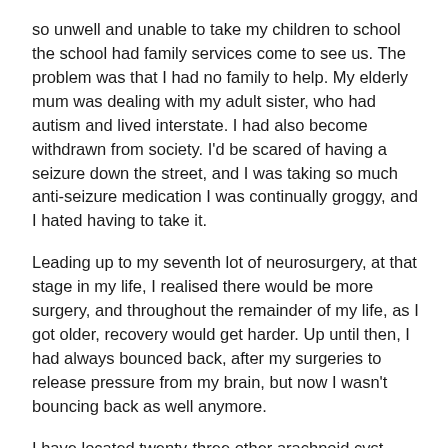so unwell and unable to take my children to school the school had family services come to see us. The problem was that I had no family to help. My elderly mum was dealing with my adult sister, who had autism and lived interstate. I had also become withdrawn from society. I'd be scared of having a seizure down the street, and I was taking so much anti-seizure medication I was continually groggy, and I hated having to take it.
Leading up to my seventh lot of neurosurgery, at that stage in my life, I realised there would be more surgery, and throughout the remainder of my life, as I got older, recovery would get harder. Up until then, I had always bounced back, after my surgeries to release pressure from my brain, but now I wasn't bouncing back as well anymore.
I have located twenty-three other arachnoid cyst patients here in Australia and the problem is that a lot of them or their families are going through all these same issues. We desperately need a Support Group here in Australia, and my aim is to find someone to help us with research for further awareness of this disease. There are some heartbreaking situations among these families, and they are not getting the medical attention and support